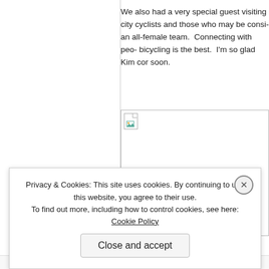We also had a very special guest visiting city cyclists and those who may be considering an all-female team.  Connecting with people bicycling is the best.  I'm so glad Kim coming soon.
[Figure (photo): Broken image placeholder icon in upper-left corner of a large image area]
Privacy & Cookies: This site uses cookies. By continuing to use this website, you agree to their use. To find out more, including how to control cookies, see here: Cookie Policy